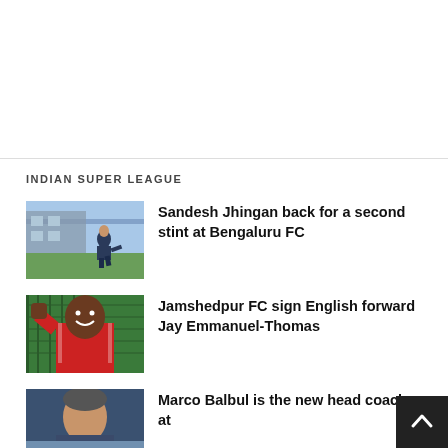INDIAN SUPER LEAGUE
[Figure (photo): A football player in dark training kit running on a training ground pitch]
Sandesh Jhingan back for a second stint at Bengaluru FC
[Figure (photo): A smiling footballer in a red jersey celebrating]
Jamshedpur FC sign English forward Jay Emmanuel-Thomas
[Figure (photo): A man in coaching attire, partially visible]
Marco Balbul is the new head coach at